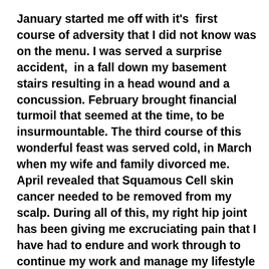January started me off with it's  first course of adversity that I did not know was on the menu. I was served a surprise accident,  in a fall down my basement stairs resulting in a head wound and a concussion. February brought financial turmoil that seemed at the time, to be insurmountable. The third course of this wonderful feast was served cold, in March when my wife and family divorced me. April revealed that Squamous Cell skin cancer needed to be removed from my scalp. During all of this, my right hip joint has been giving me excruciating pain that I have had to endure and work through to continue my work and manage my lifestyle on